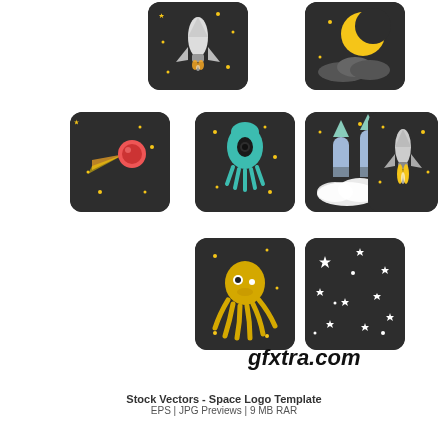[Figure (illustration): Space themed icon set with shuttle, moon, comet, alien squid, rockets launching, space shuttle with flame, yellow alien octopus, and starfield on dark rounded square backgrounds]
gfxtra.com
Stock Vectors - Space Logo Template
EPS | JPG Previews | 9 MB RAR